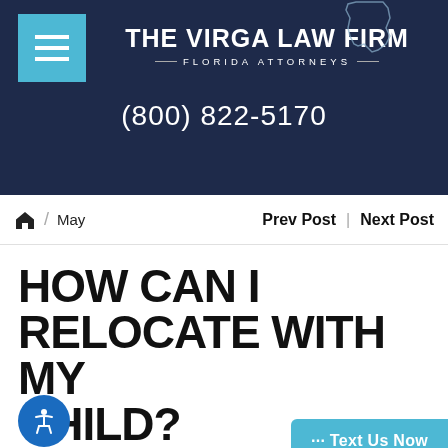[Figure (logo): The Virga Law Firm logo with Florida outline, menu icon, firm name, subtitle 'FLORIDA ATTORNEYS', and phone number (800) 822-5170 on dark navy background]
🏠 / May   Prev Post | Next Post
HOW CAN I RELOCATE WITH MY CHILD?
By Gerard Virga